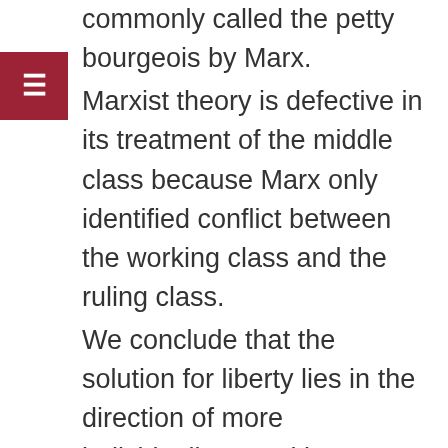commonly called the petty bourgeois by Marx. Marxist theory is defective in its treatment of the middle class because Marx only identified conflict between the working class and the ruling class. We conclude that the solution for liberty lies in the direction of more individualism, and less central government, in a state sovereignty economic commonwealth of independent entrepreneurial producers of the American petty bourgeois. This podcast is the introduction of a much longer article, available at clpnewsnetwork.com. The other sections of the longer article include: Section 1. Sectional Animosity As The Historical Antecedent of BLM Marxist White Supremacy Animosity. Section 2. A Second Civil War Over White